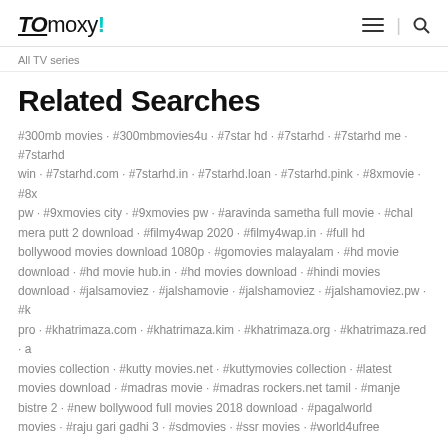tomoxy!
All TV series
Related  Searches
#300mb movies · #300mbmovies4u · #7star hd · #7starhd · #7starhd me · #7starhd win · #7starhd.com · #7starhd.in · #7starhd.loan · #7starhd.pink · #8xmovie · #8x pw · #9xmovies city · #9xmovies pw · #aravinda sametha full movie · #chal mera putt 2 download · #filmy4wap 2020 · #filmy4wap.in · #full hd bollywood movies download 1080p · #gomovies malayalam · #hd movie download · #hd movie hub.in · #hd movies download · #hindi movies download · #jalsamoviez · #jalshamovie · #jalshamoviez · #jalshamoviez.pw · #k pro · #khatrimaza.com · #khatrimaza.kim · #khatrimaza.org · #khatrimaza.red · a movies collection · #kutty movies.net · #kuttymovies collection · #latest movies download · #madras movie · #madras rockers.net tamil · #manje bistre 2 · #new bollywood full movies 2018 download · #pagalworld movies · #raju gari gadhi 3 · #sdmovies · #ssr movies · #world4ufree